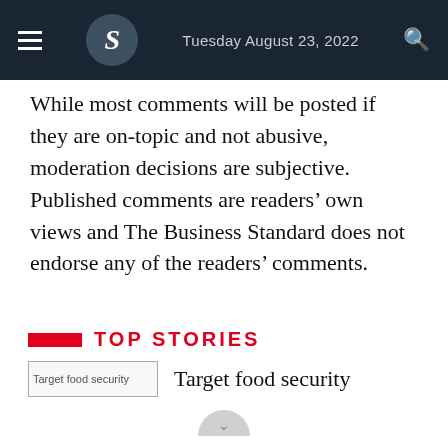Tuesday August 23, 2022
While most comments will be posted if they are on-topic and not abusive, moderation decisions are subjective. Published comments are readers’ own views and The Business Standard does not endorse any of the readers’ comments.
Top Stories
[Figure (photo): Target food security thumbnail image]
Target food security